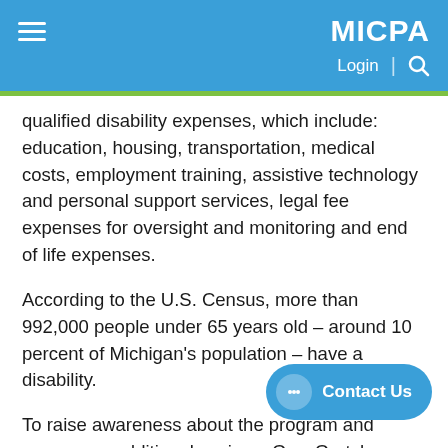MICPA | Login | Search
qualified disability expenses, which include: education, housing, transportation, medical costs, employment training, assistive technology and personal support services, legal fee expenses for oversight and monitoring and end of life expenses.
According to the U.S. Census, more than 992,000 people under 65 years old – around 10 percent of Michigan's population – have a disability.
To raise awareness about the program and encourage additional savings, Gov. Gretchen Whitmer has proclaimed as #AbleToSave Month…
Contact Us